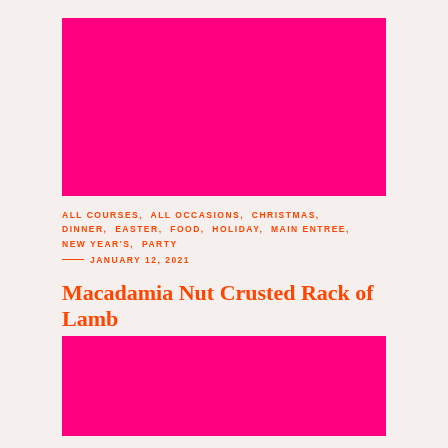[Figure (photo): Hot pink/magenta rectangular image block at top]
ALL COURSES, ALL OCCASIONS, CHRISTMAS, DINNER, EASTER, FOOD, HOLIDAY, MAIN ENTREE, NEW YEAR'S, PARTY
— JANUARY 12, 2021
Macadamia Nut Crusted Rack of Lamb
[Figure (photo): Hot pink/magenta rectangular image block at bottom]